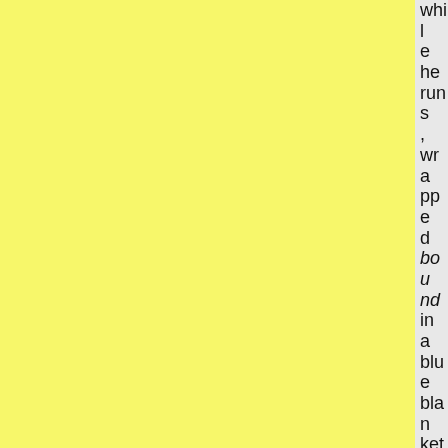while he runs, wrapped bound in a blue blanket. I can't remember how long he's bee